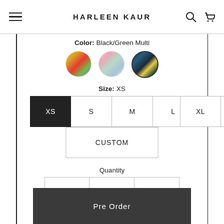HARLEEN KAUR
Color: Black/Green Multi
[Figure (illustration): Three circular color swatches: warm multi (yellows/reds/greens), soft pink/mint multi, black/green multi (selected with border)]
Size: XS
XS  S  M  L  XL  2XL  CUSTOM
Quantity
- 1 +
Pre Order